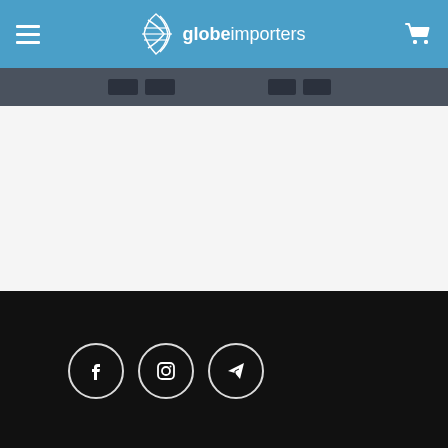globe importers
[Figure (screenshot): Website screenshot showing Globe Importers navigation bar with hamburger menu, logo, and cart icon on a blue background, followed by a dark sub-navigation bar, white content area, and black footer with Facebook, Instagram, and Telegram social media icons]